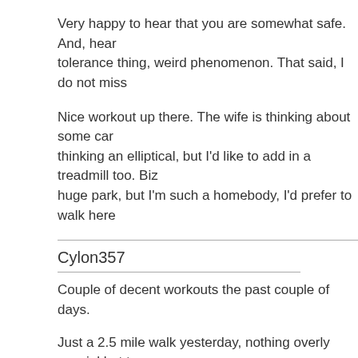Very happy to hear that you are somewhat safe. And, hear tolerance thing, weird phenomenon. That said, I do not miss
Nice workout up there. The wife is thinking about some car thinking an elliptical, but I'd like to add in a treadmill too. Biz huge park, but I'm such a homebody, I'd prefer to walk here
Cylon357
Couple of decent workouts the past couple of days.
Just a 2.5 mile walk yesterday, nothing overly special but tr
Tonight's bench workout was OK. Not awesome, but pretty Started with barbell bench and was struggling a bit with wei what was up with that. I did notice some swelling in the han gloves as the weight got heavier. I did get 2 sets of 4 of my I wanted 5 or 6. Not sure what is up there, maybe just tired.
Dips were next 10, 8, 8, 3, 8. The first and last sets were wi rep was +25lbs, and the second 8 rep and 3 rep sets were set... man, I was just done there.